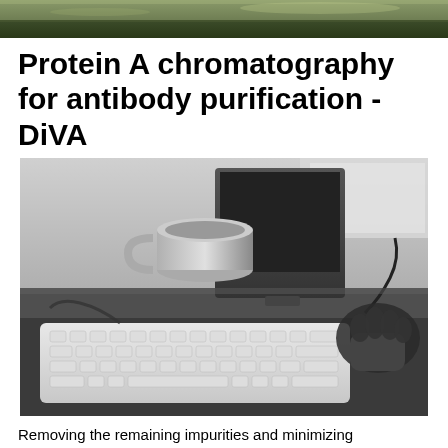[Figure (photo): Black and white photo strip at top showing outdoor grassy scene]
Protein A chromatography for antibody purification - DiVA
[Figure (photo): Black and white photo of a desk with a keyboard, coffee mug, computer monitor, and a hand holding a computer mouse]
Removing the remaining impurities and minimizing